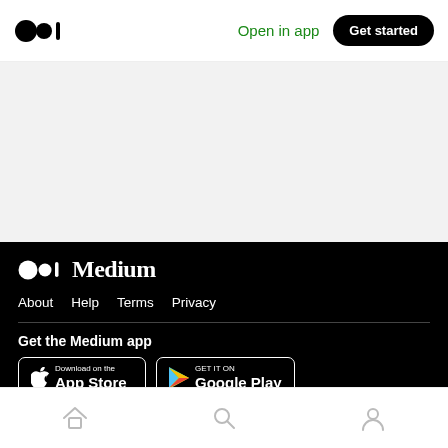Medium logo | Open in app | Get started
[Figure (screenshot): Medium website footer section on mobile showing logo, navigation links (About, Help, Terms, Privacy), app download buttons for App Store and Google Play, and bottom navigation bar with home, search, and profile icons.]
About  Help  Terms  Privacy
Get the Medium app
Download on the App Store
GET IT ON Google Play
Home | Search | Profile